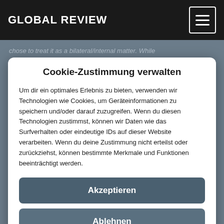GLOBAL REVIEW
chose to treat it as a bilateral/internal matter. While the discomfort of Pakistan and to some extent China
Cookie-Zustimmung verwalten
Um dir ein optimales Erlebnis zu bieten, verwenden wir Technologien wie Cookies, um Geräteinformationen zu speichern und/oder darauf zuzugreifen. Wenn du diesen Technologien zustimmst, können wir Daten wie das Surfverhalten oder eindeutige IDs auf dieser Website verarbeiten. Wenn du deine Zustimmung nicht erteilst oder zurückziehst, können bestimmte Merkmale und Funktionen beeinträchtigt werden.
Akzeptieren
Ablehnen
Einstellungen ansehen
Cookie-Richtlinie
Rechtliche Informationen
Rechtliche Informationen